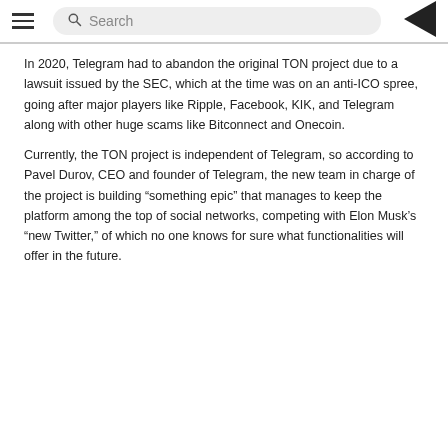Search
In 2020, Telegram had to abandon the original TON project due to a lawsuit issued by the SEC, which at the time was on an anti-ICO spree, going after major players like Ripple, Facebook, KIK, and Telegram along with other huge scams like Bitconnect and Onecoin.
Currently, the TON project is independent of Telegram, so according to Pavel Durov, CEO and founder of Telegram, the new team in charge of the project is building “something epic” that manages to keep the platform among the top of social networks, competing with Elon Musk’s “new Twitter,” of which no one knows for sure what functionalities will offer in the future.